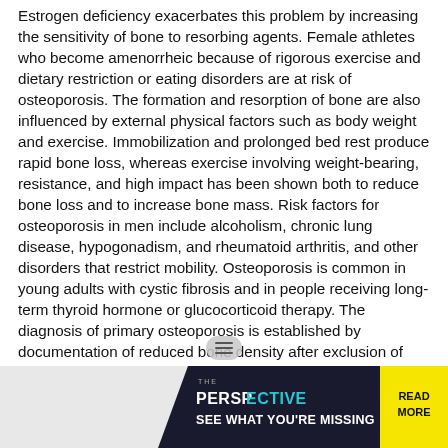Estrogen deficiency exacerbates this problem by increasing the sensitivity of bone to resorbing agents. Female athletes who become amenorrheic because of rigorous exercise and dietary restriction or eating disorders are at risk of osteoporosis. The formation and resorption of bone are also influenced by external physical factors such as body weight and exercise. Immobilization and prolonged bed rest produce rapid bone loss, whereas exercise involving weight-bearing, resistance, and high impact has been shown both to reduce bone loss and to increase bone mass. Risk factors for osteoporosis in men include alcoholism, chronic lung disease, hypogonadism, and rheumatoid arthritis, and other disorders that restrict mobility. Osteoporosis is common in young adults with cystic fibrosis and in people receiving long-term thyroid hormone or glucocorticoid therapy. The diagnosis of primary osteoporosis is established by documentation of reduced bone density after exclusion of known causes of excessive bone loss. Assessment of bone density is currently recommended for all women 65 and older and for younger women who are at increased risk of osteoporosis. Roentgenograms are insensitive indicators of bone loss, because bone density must have decreased by at least 20-30% before the reduction can be appreciated. Standard diagnostic procedures are determination of bone mineral density (BMD) at the ultradistal radius and
[Figure (screenshot): Advertisement banner: dark navy background with 'THE PERSPECTIVE - SEE WHAT YOU'RE MISSING' text in teal/white, and a yellow 'READ MORE' button on the right]